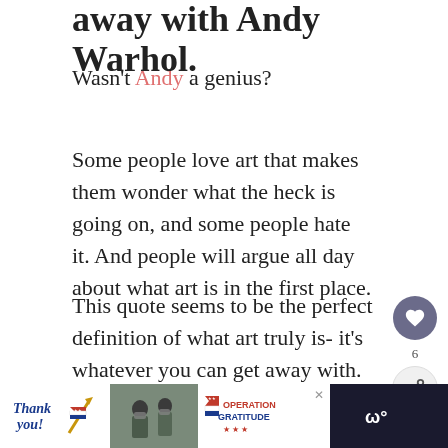away with Andy Warhol.
Wasn't Andy a genius?
Some people love art that makes them wonder what the heck is going on, and some people hate it. And people will argue all day about what art is in the first place.
This quote seems to be the perfect definition of what art truly is- it's whatever you can get away with.
[Figure (photo): Street art mural of a face with red hair and bold eyes with text 'WE RISE' and 'LIFE']
[Figure (infographic): What's Next sidebar with thumbnail and text 'Where Do Creative Ide...']
[Figure (photo): Bottom advertisement banner: 'Thank you' with military imagery, Operation Gratitude branding, and close button]